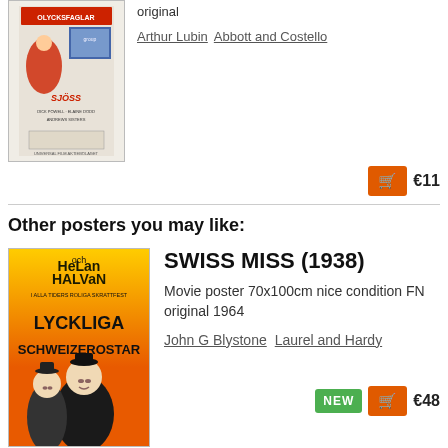[Figure (photo): Movie poster for Olycksfaglar / Sjoss, Swedish poster with red illustrated characters and text]
original
Arthur Lubin  Abbott and Costello
€11
Other posters you may like:
[Figure (photo): Movie poster for Swiss Miss (1938) - Helan and Halvan / Lyckliga Schweizerostar, orange background with Laurel and Hardy]
SWISS MISS (1938)
Movie poster 70x100cm nice condition FN original 1964
John G Blystone  Laurel and Hardy
€48
[Figure (photo): Movie poster for Block-Heads (1938) - Helan och Halvan, teal/green background]
BLOCK-HEADS (1938)
Movie poster 70x100cm nice condition FN original 1970